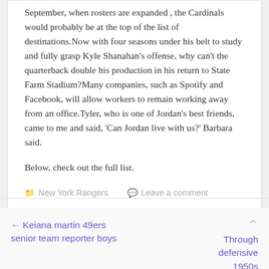September, when rosters are expanded , the Cardinals would probably be at the top of the list of destinations.Now with four seasons under his belt to study and fully grasp Kyle Shanahan's offense, why can't the quarterback double his production in his return to State Farm Stadium?Many companies, such as Spotify and Facebook, will allow workers to remain working away from an office.Tyler, who is one of Jordan's best friends, came to me and said, 'Can Jordan live with us?' Barbara said.
Below, check out the full list.
New York Rangers   Leave a comment
← Keiana martin 49ers senior team reporter boys
Through defensive 1950s and early 1960s rumored